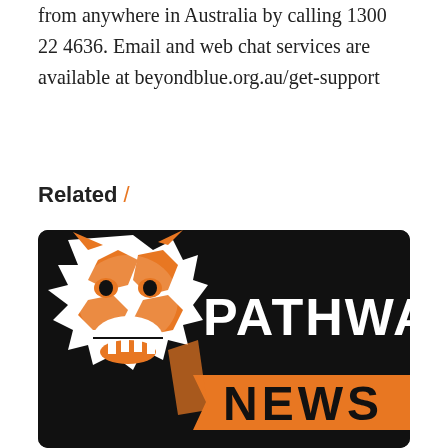from anywhere in Australia by calling 1300 22 4636. Email and web chat services are available at beyondblue.org.au/get-support
Related /
[Figure (logo): Wests Tigers Pathway News banner: black background with an orange and white tiger mascot logo on the left and large white text reading PATHWAY and orange banner text reading NEWS]